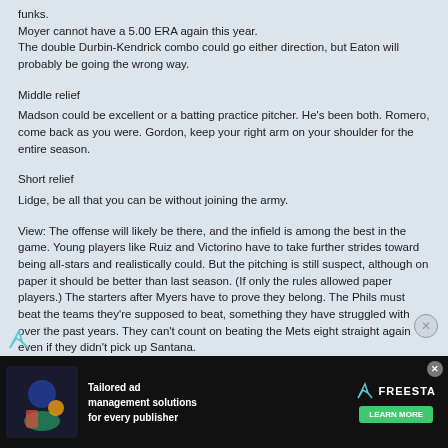funks.
Moyer cannot have a 5.00 ERA again this year.
The double Durbin-Kendrick combo could go either direction, but Eaton will probably be going the wrong way.
Middle relief
Madson could be excellent or a batting practice pitcher. He's been both. Romero, come back as you were. Gordon, keep your right arm on your shoulder for the entire season.
Short relief
Lidge, be all that you can be without joining the army.
View: The offense will likely be there, and the infield is among the best in the game. Young players like Ruiz and Victorino have to take further strides toward being all-stars and realistically could. But the pitching is still suspect, although on paper it should be better than last season. (If only the rules allowed paper players.) The starters after Myers have to prove they belong. The Phils must beat the teams they're supposed to beat, something they have struggled with over the past years. They can't count on beating the Mets eight straight again even if they didn't pick up Santana.
There isn't a darn thing wrong with Charlie Manuel. Just be yourself, Charlie, and screw your critics.
Tags:
[Figure (screenshot): Advertisement banner: Tailored ad management solutions for every publisher — FREESTA with Learn More button]